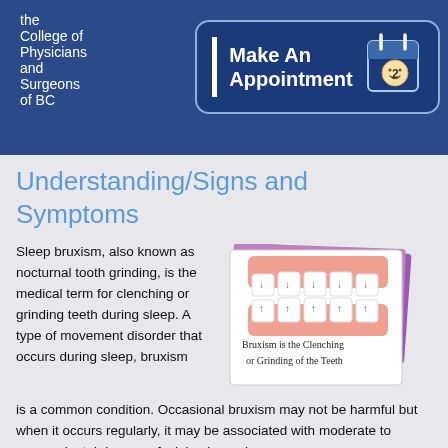the College of Physicians and Surgeons of BC
[Figure (illustration): Make An Appointment button with calendar icon on dark blue background]
Understanding/Signs and Symptoms
[Figure (illustration): Illustration of teeth grinding showing upper and lower teeth with arrows indicating clenching motion. Caption reads: Bruxism is the Clenching or Grinding of the Teeth]
Sleep bruxism, also known as nocturnal tooth grinding, is the medical term for clenching or grinding teeth during sleep. A type of movement disorder that occurs during sleep, bruxism is a common condition. Occasional bruxism may not be harmful but when it occurs regularly, it may be associated with moderate to severe dental damage, facial pain, and